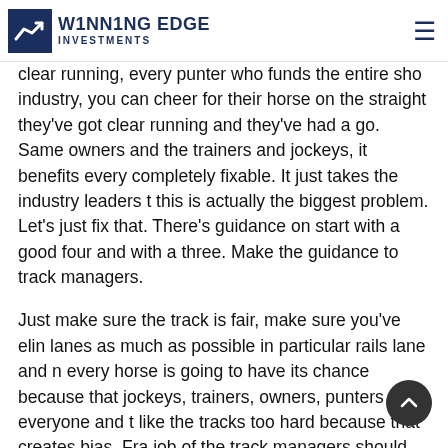Winning Edge Investments
clear running, every punter who funds the entire sho industry, you can cheer for their horse on the straight they've got clear running and they've had a go. Same owners and the trainers and jockeys, it benefits every completely fixable. It just takes the industry leaders t this is actually the biggest problem. Let's just fix that. There's guidance on start with a good four and with a three. Make the guidance to track managers.
Just make sure the track is fair, make sure you've elin lanes as much as possible in particular rails lane and n every horse is going to have its chance because that jockeys, trainers, owners, punters and everyone and t like the tracks too hard because that creates bias. Fra job of the track managers should be to make th ac firstly and fair and that's basically fair means every ho